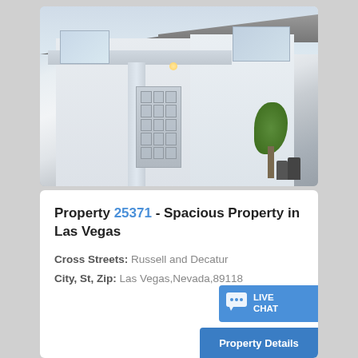[Figure (photo): Exterior photo of a white stucco two-story house with tile roof, covered entryway with security door, upper windows, and a small tree with trash bins visible at right side.]
Property 25371 - Spacious Property in Las Vegas
Cross Streets: Russell and Decatur
City, St, Zip: Las Vegas,Nevada,89118